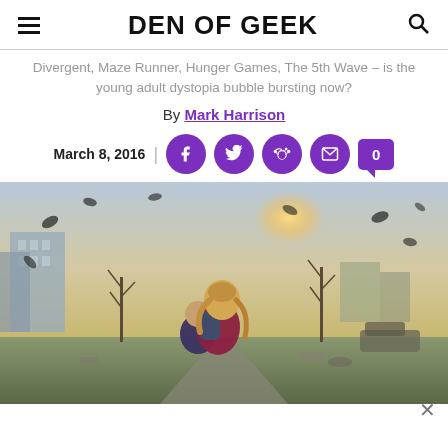DEN OF GEEK
Divergent, Maze Runner, Hunger Games, The 5th Wave – is the young adult dystopia bubble bursting now?
By Mark Harrison
March 8, 2016
[Figure (photo): Movie poster-style image showing a young blonde woman holding a young child in a post-apocalyptic city scene with debris flying through the air and destroyed buildings in the background.]